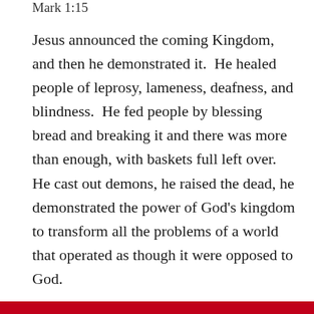Mark 1:15
Jesus announced the coming Kingdom, and then he demonstrated it.  He healed people of leprosy, lameness, deafness, and blindness.  He fed people by blessing bread and breaking it and there was more than enough, with baskets full left over.  He cast out demons, he raised the dead, he demonstrated the power of God's kingdom to transform all the problems of a world that operated as though it were opposed to God.
Jesus denounced those who took advantage of the poor, who didn't care for children, who looked down on others.  He bridged centuries